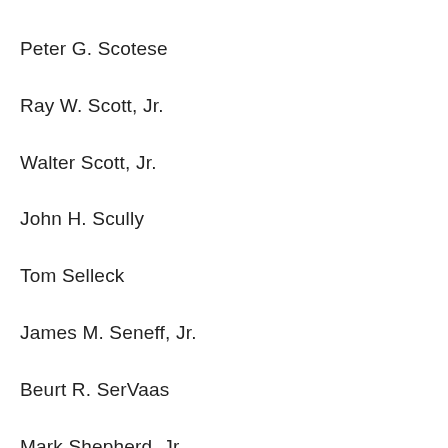Peter G. Scotese
Ray W. Scott, Jr.
Walter Scott, Jr.
John H. Scully
Tom Selleck
James M. Seneff, Jr.
Beurt R. SerVaas
Mark Shepherd, Jr.